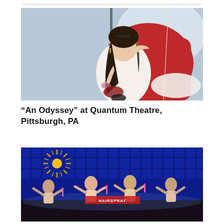[Figure (photo): A woman in a white dress seated in a large red chair, holding a wine glass, with her hand raised to her forehead, against a light blue/white backdrop with a dark metal stand visible. Theatrical/promotional photo.]
“An Odyssey” at Quantum Theatre, Pittsburgh, PA
[Figure (photo): A theatrical stage performance with performers on stage, blue LED backdrop, a starburst prop with gold spikes, and a banner reading HAIRSPRAY. Performers are raising their arms with various props.]